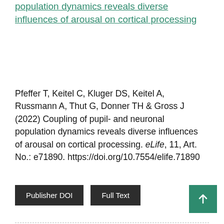population dynamics reveals diverse influences of arousal on cortical processing
Pfeffer T, Keitel C, Kluger DS, Keitel A, Russmann A, Thut G, Donner TH & Gross J (2022) Coupling of pupil- and neuronal population dynamics reveals diverse influences of arousal on cortical processing. eLife, 11, Art. No.: e71890. https://doi.org/10.7554/elife.71890
Publisher DOI | Full Text